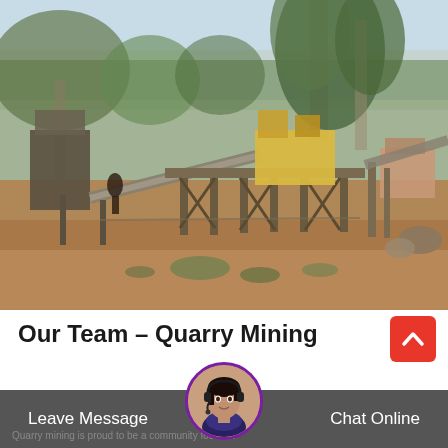[Figure (photo): Outdoor quarry mining site with industrial crushing equipment, conveyor belts on elevated platforms supported by wooden/metal frames, surrounded by eucalyptus trees under a hazy sky, with red-brown dirt ground in foreground.]
Our Team – Quarry Mining
[Figure (photo): Red square button with white upward chevron arrow icon (scroll-to-top button)]
[Figure (photo): Chat avatar: woman with dark hair wearing a telephone headset, circular crop with purple border]
Leave Message
Chat Online
Quarry mining is proud to be a community focused